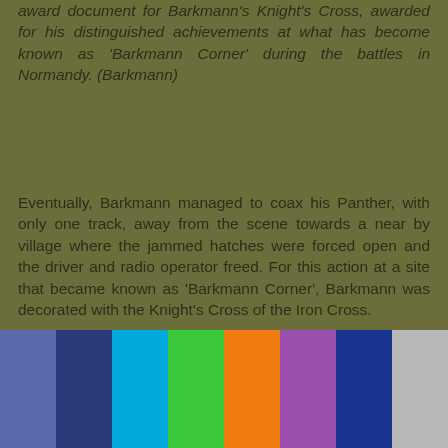award document for Barkmann's Knight's Cross, awarded for his distinguished achievements at what has become known as 'Barkmann Corner' during the battles in Normandy. (Barkmann)
Eventually, Barkmann managed to coax his Panther, with only one track, away from the scene towards a near by village where the jammed hatches were forced open and the driver and radio operator freed. For this action at a site that became known as 'Barkmann Corner', Barkmann was decorated with the Knight's Cross of the Iron Cross.
Later that same year, Barkmann saw action in the Battle of the Bulge as Hitler launched his ill-fated counter-attack through the Ardennes. On 24 December 1944, whilst advancing towards Manhay, Barkmann became separated from the main body of
[Figure (other): Color swatches bar at the bottom of the page showing 8 colored rectangles: blue-grey, dark blue, cyan, green, orange, purple, dark blue, light grey]